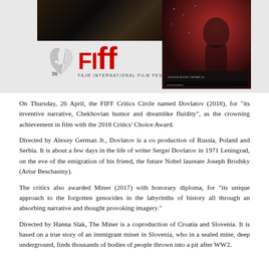[Figure (photo): Banner image showing FIFF (Fajr International Film Festival) logo with stylized bird emblem and red FIff text, dark film image on top left, and a red-toned movie poster for Dovlatov on the right]
On Thursday, 26 April, the FIFF Critics Circle named Dovlatov (2018), for “its inventive narrative, Chekhovian humor and dreamlike fluidity”, as the crowning achievement in film with the 2018 Critics’ Choice Award.

Directed by Alexey German Jr., Dovlatov is a co production of Russia, Poland and Serbia. It is about a few days in the life of writer Sergei Dovlatov in 1971 Leningrad, on the eve of the emigration of his friend, the future Nobel laureate Joseph Brodsky (Artur Beschastny).

The critics also awarded Miner (2017) with honorary diploma, for “its unique approach to the forgotten genocides in the labyrinths of history all through an absorbing narrative and thought provoking imagery.”

Directed by Hanna Slak, The Miner is a coproduction of Croatia and Slovenia. It is based on a true story of an immigrant miner in Slovenia, who in a sealed mine, deep underground, finds thousands of bodies of people thrown into a pit after WW2.